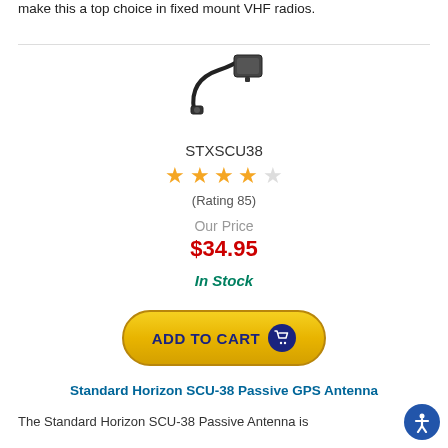make this a top choice in fixed mount VHF radios.
[Figure (photo): Product image of Standard Horizon SCU-38 Passive GPS Antenna cable with connector]
STXSCU38
★★★★☆ (Rating 85)
Our Price
$34.95
In Stock
[Figure (other): ADD TO CART button with shopping cart icon]
Standard Horizon SCU-38 Passive GPS Antenna
The Standard Horizon SCU-38 Passive Antenna is